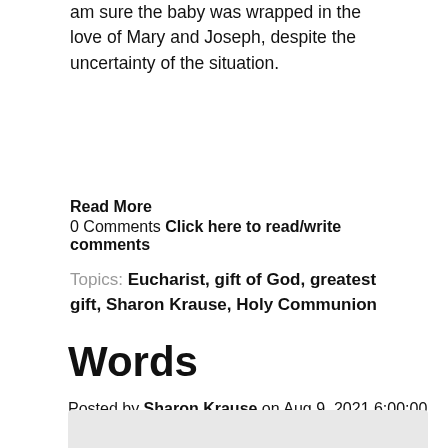am sure the baby was wrapped in the love of Mary and Joseph, despite the uncertainty of the situation.
Read More
0 Comments Click here to read/write comments
Topics: Eucharist, gift of God, greatest gift, Sharon Krause, Holy Communion
Words
Posted by Sharon Krause on Aug 9, 2021 6:00:00 AM
[Figure (other): Social sharing buttons: Tweet (Twitter, blue rounded) and Share (LinkedIn, blue square)]
[Figure (other): Gray box at bottom of page, partial content area]